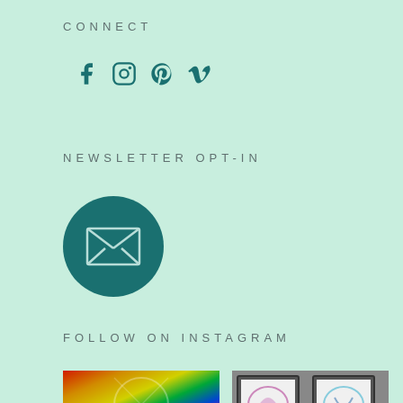CONNECT
[Figure (other): Social media icons: Facebook, Instagram, Pinterest, Vimeo in teal color]
NEWSLETTER OPT-IN
[Figure (other): Teal circle with envelope/email icon inside]
FOLLOW ON INSTAGRAM
[Figure (photo): Two Instagram photos side by side: colorful abstract artwork on left, framed drawings on right]